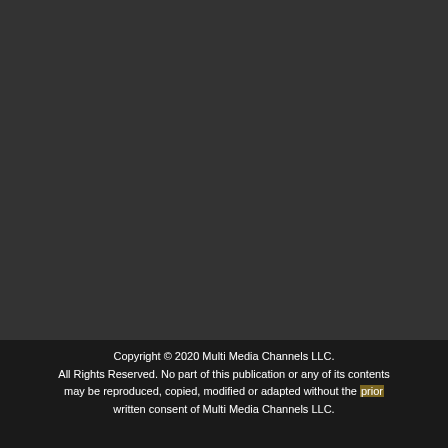Copyright © 2020 Multi Media Channels LLC. All Rights Reserved. No part of this publication or any of its contents may be reproduced, copied, modified or adapted without the prior written consent of Multi Media Channels LLC.